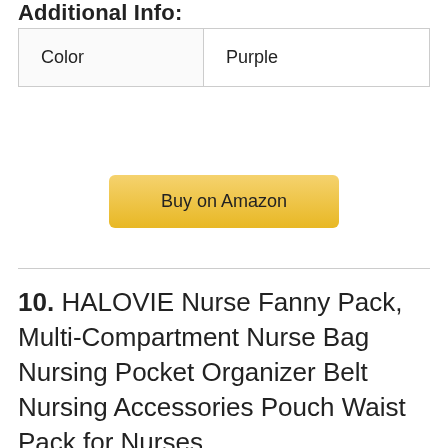Additional Info:
| Color | Purple |
[Figure (other): Buy on Amazon button]
10. HALOVIE Nurse Fanny Pack, Multi-Compartment Nurse Bag Nursing Pocket Organizer Belt Nursing Accessories Pouch Waist Pack for Nurses